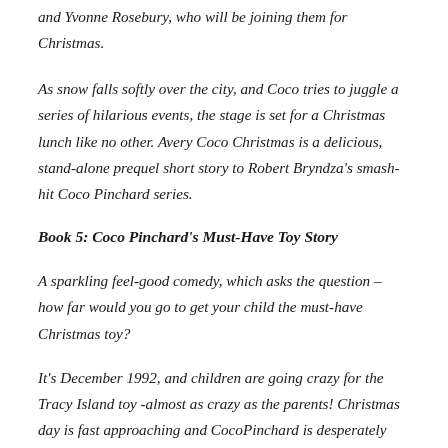and Yvonne Rosebury, who will be joining them for Christmas.
As snow falls softly over the city, and Coco tries to juggle a series of hilarious events, the stage is set for a Christmas lunch like no other. Avery Coco Christmas is a delicious, stand-alone prequel short story to Robert Bryndza's smash-hit Coco Pinchard series.
Book 5: Coco Pinchard's Must-Have Toy Story
A sparkling feel-good comedy, which asks the question – how far would you go to get your child the must-have Christmas toy?
It's December 1992, and children are going crazy for the Tracy Island toy -almost as crazy as the parents! Christmas day is fast approaching and CocoPinchard is desperately trying to